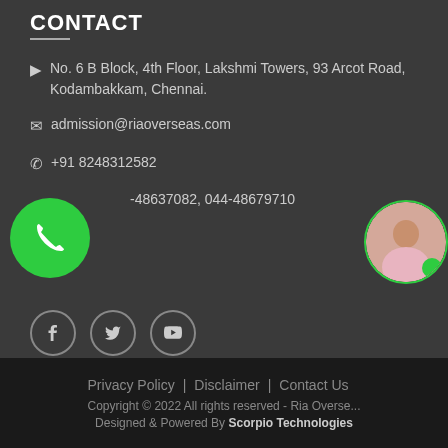CONTACT
No. 6 B Block, 4th Floor, Lakshmi Towers, 93 Arcot Road, Kodambakkam, Chennai.
admission@riaoverseas.com
+91 8248312582
044-48637082, 044-48679710
[Figure (illustration): Green circle phone icon button]
[Figure (photo): Circular avatar photo of woman in pink blazer]
[Figure (illustration): Social media icons: Facebook, Twitter, YouTube in circular borders]
Privacy Policy  |  Disclaimer  |  Contact Us
Copyright © 2022 All rights reserved - Ria Overseas
Designed & Powered By Scorpio Technologies